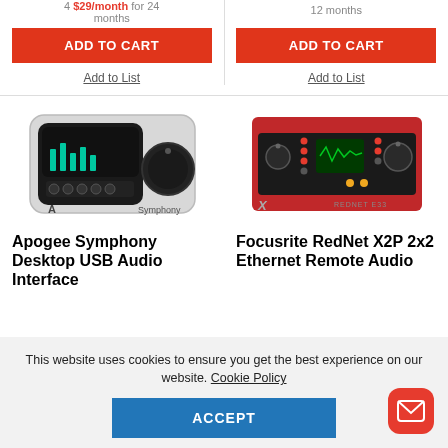4 $29/month for 24 months
12 months
ADD TO CART
Add to List
ADD TO CART
Add to List
[Figure (photo): Apogee Symphony Desktop USB Audio Interface - white device with black display showing level meters and a large volume knob]
[Figure (photo): Focusrite RedNet X2P 2x2 Ethernet Remote Audio Interface - red device with black front panel, controls and display]
Apogee Symphony Desktop USB Audio Interface
Focusrite RedNet X2P 2x2 Ethernet Remote Audio
This website uses cookies to ensure you get the best experience on our website. Cookie Policy
ACCEPT